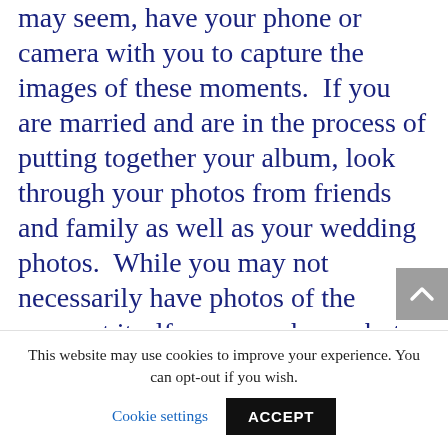may seem, have your phone or camera with you to capture the images of these moments.  If you are married and are in the process of putting together your album, look through your photos from friends and family as well as your wedding photos.  While you may not necessarily have photos of the moment itself, you may have photos that capture the relationship or emotion.  For example, for the bridal party, you may have a picture of the bride and best friend/maid of honor from school or vacation.  Another example, for the dress, you may have a photo of the father seeing the bride for the
This website may use cookies to improve your experience. You can opt-out if you wish. Cookie settings ACCEPT